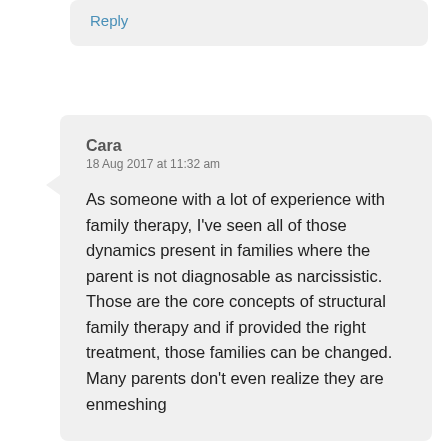Reply
Cara
18 Aug 2017 at 11:32 am
As someone with a lot of experience with family therapy, I've seen all of those dynamics present in families where the parent is not diagnosable as narcissistic. Those are the core concepts of structural family therapy and if provided the right treatment, those families can be changed. Many parents don't even realize they are enmeshing